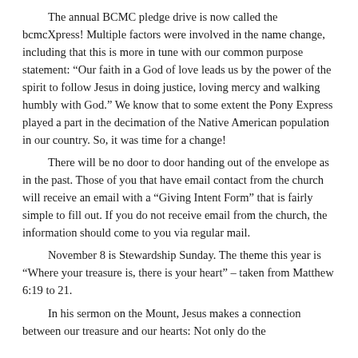The annual BCMC pledge drive is now called the bcmcXpress!  Multiple factors were involved in the name change, including that this is more in tune with our common purpose statement: “Our faith in a God of love leads us by the power of the spirit to follow Jesus in doing justice, loving mercy and walking humbly with God.”  We know that to some extent the Pony Express played a part in the decimation of the Native American population in our country.  So, it was time for a change!
	There will be no door to door handing out of the envelope as in the past. Those of you that have email contact from the church will receive an email with a “Giving Intent Form” that is fairly simple to fill out.  If you do not receive email from the church, the information should come to you via regular mail.
	November 8 is Stewardship Sunday. The theme this year is “Where your treasure is, there is your heart” – taken from Matthew 6:19 to 21.
	In his sermon on the Mount, Jesus makes a connection between our treasure and our hearts: Not only do the